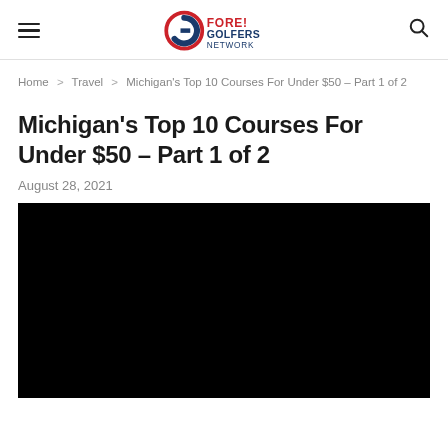Fore! Golfers Network
Home > Travel > Michigan's Top 10 Courses For Under $50 – Part 1 of 2
Michigan's Top 10 Courses For Under $50 – Part 1 of 2
August 28, 2021
[Figure (photo): Black image / video placeholder for article about Michigan's Top 10 Golf Courses For Under $50]